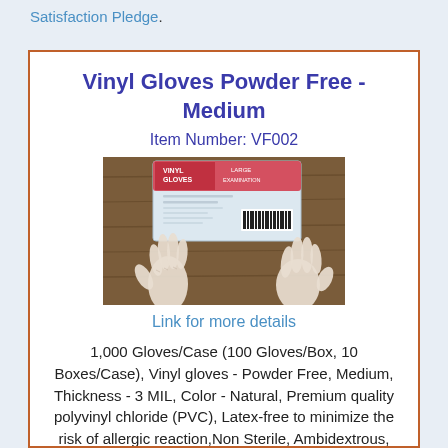Satisfaction Pledge.
Vinyl Gloves Powder Free - Medium
Item Number: VF002
[Figure (photo): Box of vinyl gloves with two gloved hands displayed below the box on a wooden surface. The box has a pink/red label reading VINYL GLOVES LARGE.]
Link for more details
1,000 Gloves/Case (100 Gloves/Box, 10 Boxes/Case), Vinyl gloves - Powder Free, Medium, Thickness - 3 MIL, Color - Natural, Premium quality polyvinyl chloride (PVC), Latex-free to minimize the risk of allergic reaction, Non Sterile, Ambidextrous,